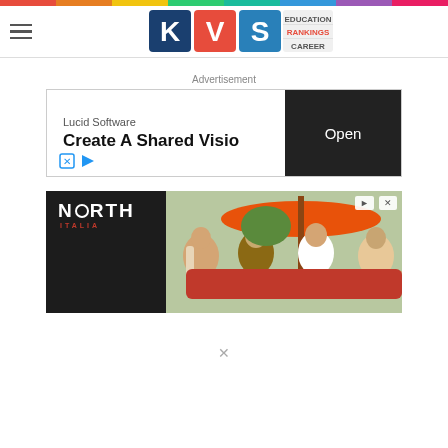KVS Education Rankings Career
Advertisement
[Figure (screenshot): Lucid Software advertisement banner: 'Create A Shared Visio...' with Open button]
[Figure (photo): North Italia restaurant advertisement showing group of friends dining outdoors under orange umbrellas]